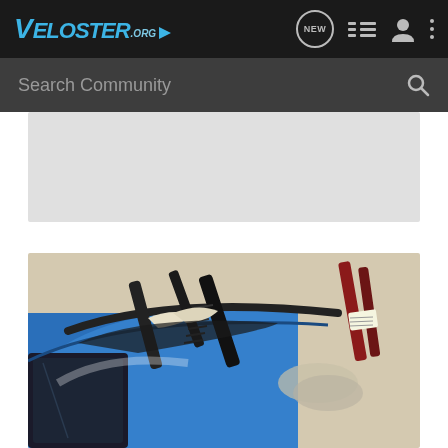VELOSTER.org
Search Community
[Figure (photo): Close-up photo of a blue Hyundai Veloster roof edge with car body tools and pry bars inserted under a rubber trim seal, showing window trim removal in a garage setting.]